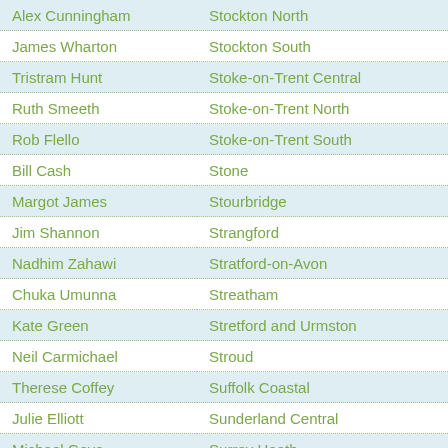| Name | Constituency |
| --- | --- |
| Alex Cunningham | Stockton North |
| James Wharton | Stockton South |
| Tristram Hunt | Stoke-on-Trent Central |
| Ruth Smeeth | Stoke-on-Trent North |
| Rob Flello | Stoke-on-Trent South |
| Bill Cash | Stone |
| Margot James | Stourbridge |
| Jim Shannon | Strangford |
| Nadhim Zahawi | Stratford-on-Avon |
| Chuka Umunna | Streatham |
| Kate Green | Stretford and Urmston |
| Neil Carmichael | Stroud |
| Therese Coffey | Suffolk Coastal |
| Julie Elliott | Sunderland Central |
| Michael Gove | Surrey Heath |
| Paul Scully | Sutton and Cheam |
| Andrew Mitchell | Sutton Coldfield |
| Carolyn Harris | Swansea East |